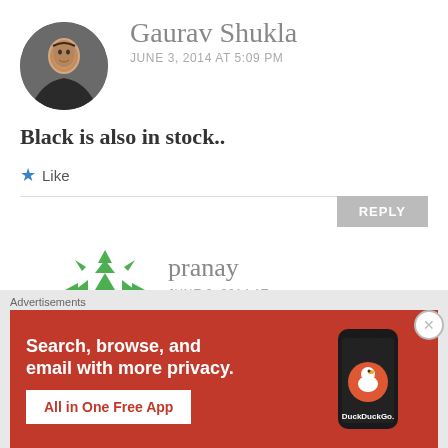[Figure (photo): Circular avatar photo of Gaurav Shukla, a man in a dark shirt]
Gaurav Shukla
JUNE 3, 2014 AT 5:09 PM
Black is also in stock..
Like
REPLY
[Figure (illustration): Green geometric pattern avatar for user pranay]
pranay
JUNE 3, 2014 AT 5:13 PM
Advertisements
[Figure (screenshot): DuckDuckGo advertisement banner with orange background. Text: Search, browse, and email with more privacy. All in One Free App. Shows DuckDuckGo logo on phone.]